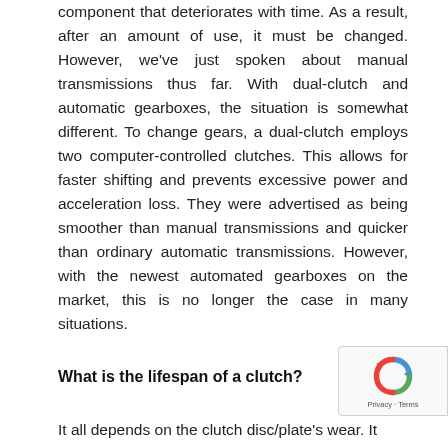component that deteriorates with time. As a result, after an amount of use, it must be changed. However, we've just spoken about manual transmissions thus far. With dual-clutch and automatic gearboxes, the situation is somewhat different. To change gears, a dual-clutch employs two computer-controlled clutches. This allows for faster shifting and prevents excessive power and acceleration loss. They were advertised as being smoother than manual transmissions and quicker than ordinary automatic transmissions. However, with the newest automated gearboxes on the market, this is no longer the case in many situations.
What is the lifespan of a clutch?
It all depends on the clutch disc/plate's wear. It